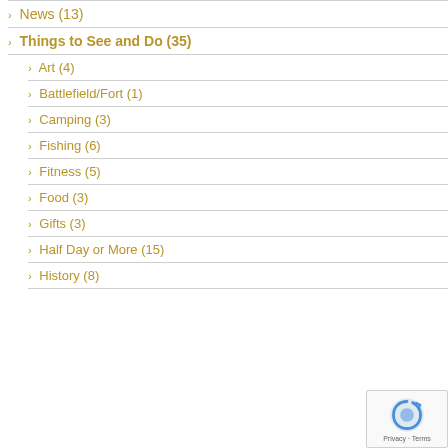News (13)
Things to See and Do (35)
Art (4)
Battlefield/Fort (1)
Camping (3)
Fishing (6)
Fitness (5)
Food (3)
Gifts (3)
Half Day or More (15)
History (8)